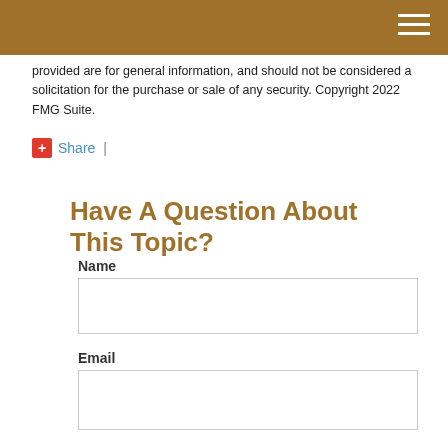provided are for general information, and should not be considered a solicitation for the purchase or sale of any security. Copyright 2022 FMG Suite.
+Share  |
Have A Question About This Topic?
Name
Email